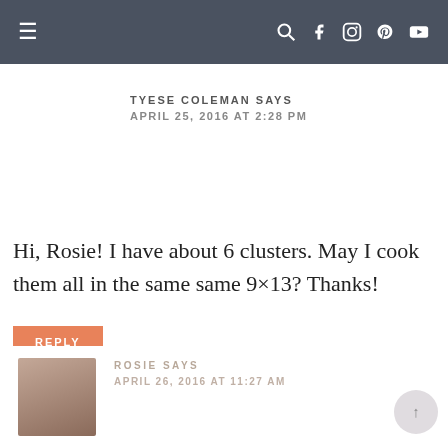Navigation bar with hamburger menu and social icons (search, facebook, instagram, pinterest, youtube)
TYESE COLEMAN SAYS
APRIL 25, 2016 AT 2:28 PM
Hi, Rosie! I have about 6 clusters. May I cook them all in the same same 9×13? Thanks!
REPLY
ROSIE SAYS
APRIL 26, 2016 AT 11:27 AM